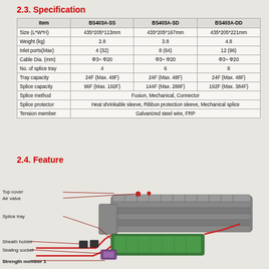2.3. Specification
| Item | BS403A-SS | BS403A-SD | BS403A-DD |
| --- | --- | --- | --- |
| Size (L*W*H) | 435*205*113mm | 435*205*167mm | 435*205*221mm |
| Weight (kg) | 2.8 | 3.8 | 4.8 |
| Inlet ports(Max) | 4 (32) | 8 (64) | 12 (96) |
| Cable Dia. (mm) | Φ3~ Φ20 | Φ3~ Φ20 | Φ3~ Φ20 |
| No. of splice tray | 4 | 6 | 8 |
| Tray capacity | 24F (Max. 48F) | 24F (Max. 48F) | 24F (Max. 48F) |
| Splice capacity | 96F (Max. 192F) | 144F (Max. 288F) | 192F (Max. 384F) |
| Splice method | Fusion, Mechanical, Connector |
| Splice protector | Heat shrinkable sleeve, Ribbon protection sleeve, Mechanical splice |
| Tension member | Galvanized steel wire, FRP |
2.4. Feature
[Figure (engineering-diagram): Exploded diagram of fiber optic splice closure showing labeled components: Top cover, Air valve, Splice tray, Sheath holder, Sealing socket, Strength member 1. The enclosure body is gray with a green splice tray component and red cable routing.]